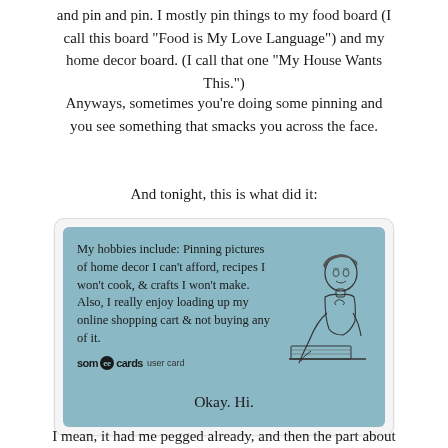and pin and pin. I mostly pin things to my food board (I call this board "Food is My Love Language") and my home decor board. (I call that one "My House Wants This.")
Anyways, sometimes you're doing some pinning and you see something that smacks you across the face.
And tonight, this is what did it:
[Figure (illustration): A someecards user card with a light blue background. Text reads: 'My hobbies include: Pinning pictures of home decor I can't afford, recipes I won't cook, & crafts I won't make. Also, I really enjoy loading up my online shopping cart & not buying any of it.' A vintage-style illustration of a person writing at a desk is shown on the right side. The someecards logo appears at the bottom left.]
Okay. Hi.
I mean, it had me pegged already, and then the part about the